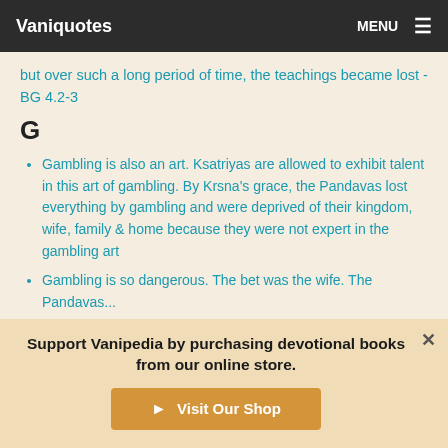Vaniquotes | MENU
but over such a long period of time, the teachings became lost - BG 4.2-3
G
Gambling is also an art. Ksatriyas are allowed to exhibit talent in this art of gambling. By Krsna's grace, the Pandavas lost everything by gambling and were deprived of their kingdom, wife, family & home because they were not expert in the gambling art
Gambling is so dangerous. The bet was the wife. The Pandavas...
Support Vanipedia by purchasing devotional books from our online store.
Visit Our Shop